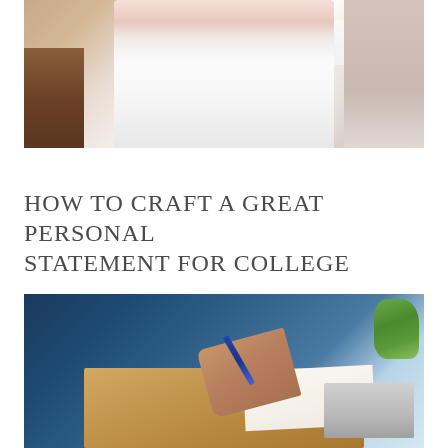[Figure (photo): Woman sitting on a white bed, wearing white clothing, in a bright bedroom with wooden furniture]
HOW TO CRAFT A GREAT PERSONAL STATEMENT FOR COLLEGE
[Figure (photo): Person writing in a notebook with a pen, with a laptop visible in the background, teal/blue toned lighting]